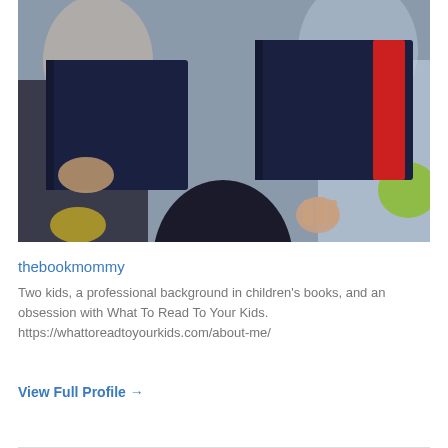[Figure (photo): Children reading books, shown from behind/below angle, with dark navy and red book covers visible, blurred background with other children reading]
thebookmommy
Two kids, a professional background in children's books, and an obsession with What To Read To Your Kids. https://whattoreadtoyourkids.com/about-me/
View Full Profile →